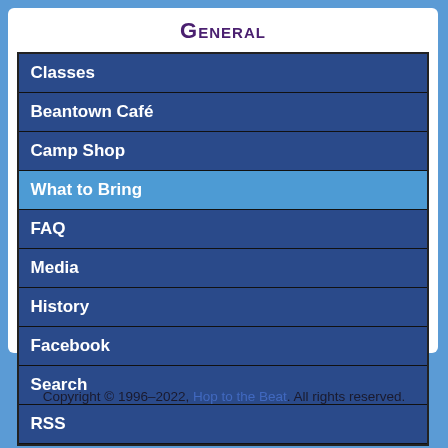General
Classes
Beantown Café
Camp Shop
What to Bring
FAQ
Media
History
Facebook
Search
RSS
Copyright © 1996–2022, Hop to the Beat. All rights reserved.